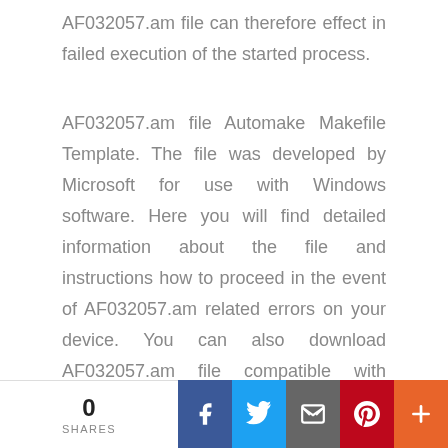AF032057.am file can therefore effect in failed execution of the started process.
AF032057.am file Automake Makefile Template. The file was developed by Microsoft for use with Windows software. Here you will find detailed information about the file and instructions how to proceed in the event of AF032057.am related errors on your device. You can also download AF032057.am file compatible with Windows 8.1, Windows 8, Windows 7, Windows Vista devices which will (most probably) allow you to solve the problem.
[Figure (logo): Windows logo: four colored squares (red, green, blue, yellow)]
Compatible with: Windows 8.1, Windows 8, Windows 7, Windows Vista
0 SHARES | Facebook | Twitter | Email | Pinterest | More